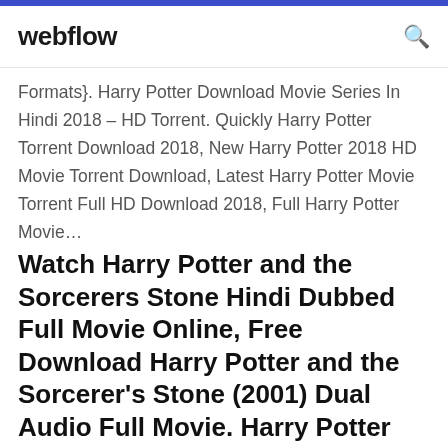webflow
Formats}. Harry Potter Download Movie Series In Hindi 2018 – HD Torrent. Quickly Harry Potter Torrent Download 2018, New Harry Potter 2018 HD Movie Torrent Download, Latest Harry Potter Movie Torrent Full HD Download 2018, Full Harry Potter Movie…
Watch Harry Potter and the Sorcerers Stone Hindi Dubbed Full Movie Online, Free Download Harry Potter and the Sorcerer's Stone (2001) Dual Audio Full Movie. Harry Potter